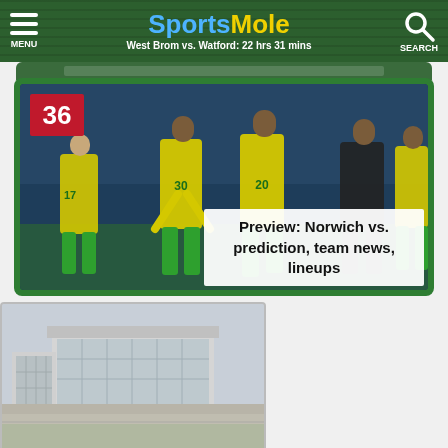SportsMole — West Brom vs. Watford: 22 hrs 31 mins
[Figure (screenshot): SportsMole website header with green grass background, hamburger menu icon on left, SportsMole logo in center (Sports in blue, Mole in yellow), search icon on right. Subtitle: West Brom vs. Watford: 22 hrs 31 mins]
[Figure (photo): Norwich City football players in yellow and green jerseys looking dejected on the pitch, with number badge 36 in red top-left corner]
Preview: Norwich vs. prediction, team news, lineups
[Figure (photo): Exterior photo of a large stadium or sports venue with a modern building structure, shot in daylight]